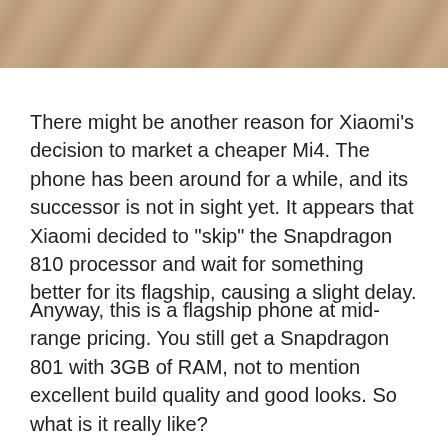[Figure (photo): A close-up photo of a hand, cropped at the top of the page, showing skin and fingers against a light background.]
There might be another reason for Xiaomi's decision to market a cheaper Mi4. The phone has been around for a while, and its successor is not in sight yet. It appears that Xiaomi decided to "skip" the Snapdragon 810 processor and wait for something better for its flagship, causing a slight delay.
Anyway, this is a flagship phone at mid-range pricing. You still get a Snapdragon 801 with 3GB of RAM, not to mention excellent build quality and good looks. So what is it really like?